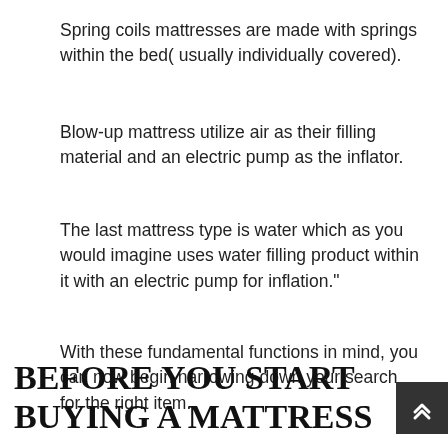Spring coils mattresses are made with springs within the bed( usually individually covered).
Blow-up mattress utilize air as their filling material and an electric pump as the inflator.
The last mattress type is water which as you would imagine uses water filling product within it with an electric pump for inflation."
With these fundamental functions in mind, you can now begin narrowing down your search for the right item.
BEFORE YOU START BUYING A MATTRESS